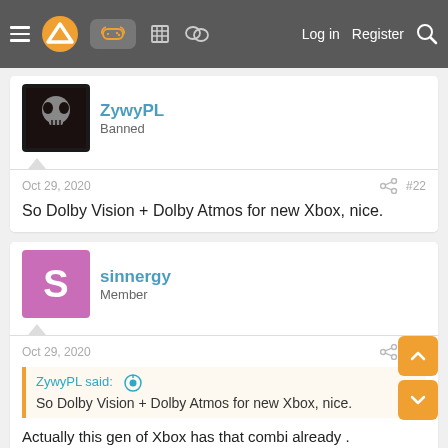Navigation bar with menu, logo, controller icon, building icon, chat icon, Log in, Register, Search
ZywyPL
Banned
Oct 29, 2020  #22
So Dolby Vision + Dolby Atmos for new Xbox, nice.
sinnergy
Member
Oct 29, 2020  #23
ZywyPL said: ⊕
So Dolby Vision + Dolby Atmos for new Xbox, nice.
Actually this gen of Xbox has that combi already .